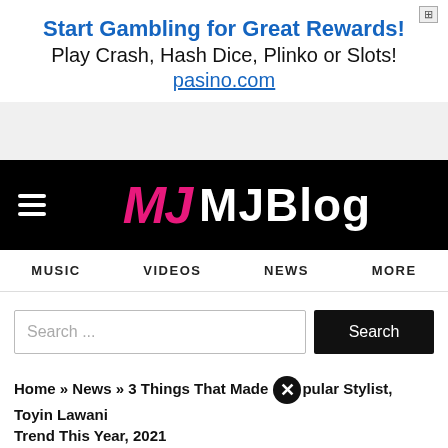[Figure (other): Small icon/badge in top right corner of ad section]
Start Gambling for Great Rewards!
Play Crash, Hash Dice, Plinko or Slots!
pasino.com
[Figure (logo): MJBlog logo with pink MJ icon and white MJBlog text on black background with hamburger menu icon]
MUSIC   VIDEOS   NEWS   MORE
Search ...
Home » News » 3 Things That Made [X] pular Stylist, Toyin Lawani Trend This Year, 2021